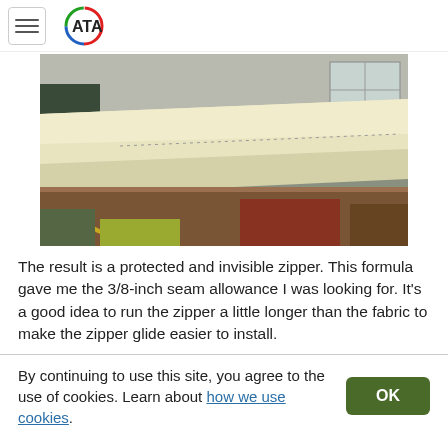ATA (logo with hamburger menu)
[Figure (photo): A large piece of cream/off-white fabric or aircraft covering material draped over a wooden workbench or form in a workshop setting. The fabric appears smooth and flat, showing a wing or panel being covered. A yellow cord or hose is visible at the bottom left.]
The result is a protected and invisible zipper. This formula gave me the 3/8-inch seam allowance I was looking for. It's a good idea to run the zipper a little longer than the fabric to make the zipper glide easier to install.
By continuing to use this site, you agree to the use of cookies. Learn about how we use cookies.